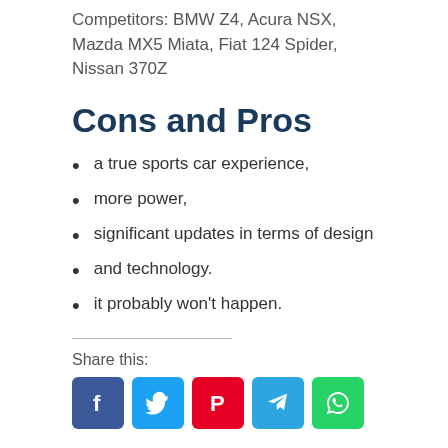Competitors: BMW Z4, Acura NSX, Mazda MX5 Miata, Fiat 124 Spider, Nissan 370Z
Cons and Pros
a true sports car experience,
more power,
significant updates in terms of design
and technology.
it probably won't happen.
Share this:
[Figure (infographic): Social share buttons: Facebook (blue), Twitter (light blue), Pinterest (red), Telegram (blue), WhatsApp (green)]
Honda
2020 Honda S2000 Changes, 2020 Honda